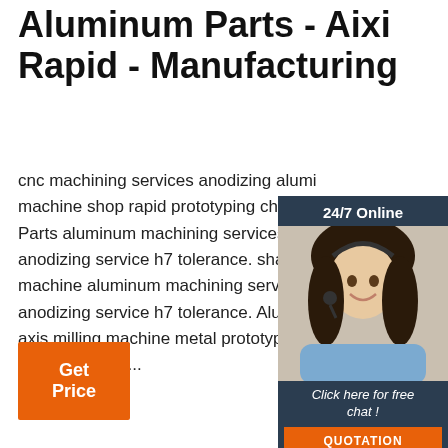Aluminum Parts - Aixi Rapid - Manufacturing
cnc machining services anodizing aluminum cnc machine shop rapid prototyping china. A Parts aluminum machining services sma anodizing service h7 tolerance. shapeok machine aluminum machining services s anodizing service h7 tolerance. Aluminum axis milling machine metal prototype fab aluminum cnc ...
[Figure (photo): Live chat widget with 24/7 Online header, photo of a woman with headset smiling, 'Click here for free chat!' text, and orange QUOTATION button]
[Figure (other): Get Price orange button]
[Figure (other): Back to TOP icon with orange dots forming a triangle above the word TOP]